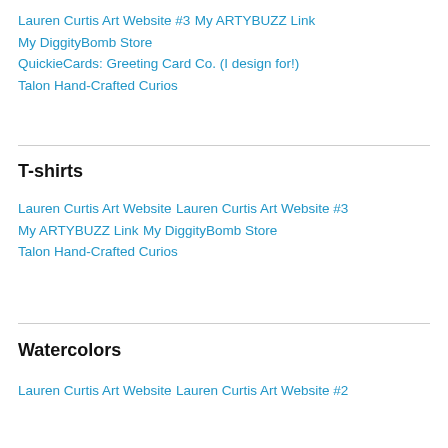Lauren Curtis Art Website #3
My ARTYBUZZ Link
My DiggityBomb Store
QuickieCards: Greeting Card Co. (I design for!)
Talon Hand-Crafted Curios
T-shirts
Lauren Curtis Art Website
Lauren Curtis Art Website #3
My ARTYBUZZ Link
My DiggityBomb Store
Talon Hand-Crafted Curios
Watercolors
Lauren Curtis Art Website
Lauren Curtis Art Website #2